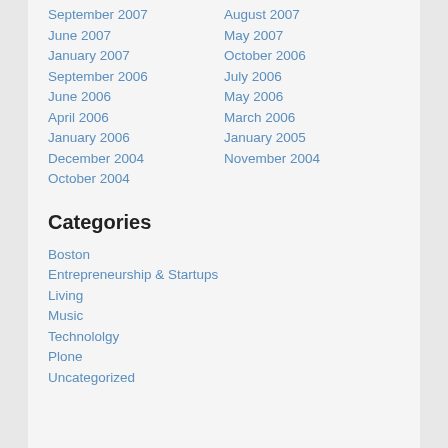September 2007
August 2007
June 2007
May 2007
January 2007
October 2006
September 2006
July 2006
June 2006
May 2006
April 2006
March 2006
January 2006
January 2005
December 2004
November 2004
October 2004
Categories
Boston
Entrepreneurship & Startups
Living
Music
Technololgy
Plone
Uncategorized